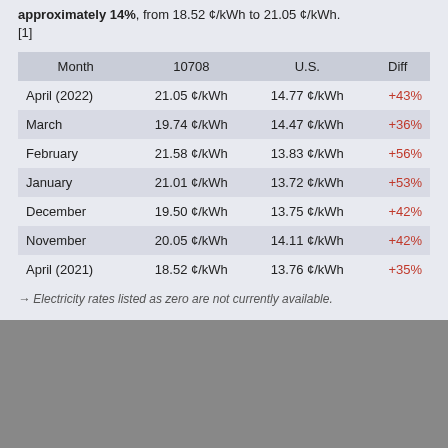approximately 14%, from 18.52 ¢/kWh to 21.05 ¢/kWh. [1]
| Month | 10708 | U.S. | Diff |
| --- | --- | --- | --- |
| April (2022) | 21.05 ¢/kWh | 14.77 ¢/kWh | +43% |
| March | 19.74 ¢/kWh | 14.47 ¢/kWh | +36% |
| February | 21.58 ¢/kWh | 13.83 ¢/kWh | +56% |
| January | 21.01 ¢/kWh | 13.72 ¢/kWh | +53% |
| December | 19.50 ¢/kWh | 13.75 ¢/kWh | +42% |
| November | 20.05 ¢/kWh | 14.11 ¢/kWh | +42% |
| April (2021) | 18.52 ¢/kWh | 13.76 ¢/kWh | +35% |
→ Electricity rates listed as zero are not currently available.